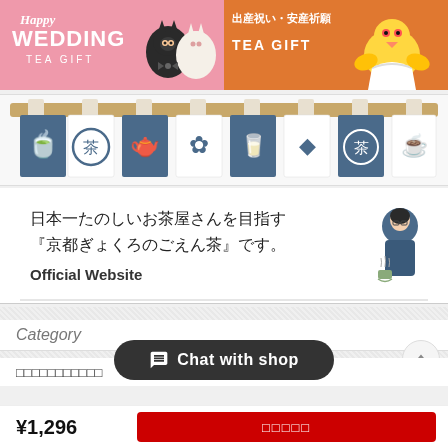[Figure (illustration): Pink banner with 'Happy WEDDING TEA GIFT' text and cartoon cats illustration]
[Figure (illustration): Orange banner with Japanese text '出産祝い・安産祈願' and 'TEA GIFT' with a yellow chick illustration]
[Figure (illustration): Japanese noren (curtain) with tea-themed icons: whisk, tea kanji, teapot, flower, cup, leaf, tea kanji, steaming cup]
[Figure (illustration): White section with Japanese text and illustration of person serving tea: 日本一たのしいお茶屋さんを目指す『京都ぎょくろのごえん茶』です。 Official Website]
Category
Chat with shop
□□□□□□□□□□□
¥1,296
□□□□□